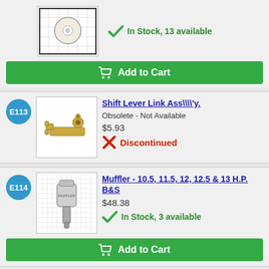[Figure (photo): Product image of a round white part on grid background]
In Stock, 13 available
Add to Cart
E113
[Figure (photo): Product image of a gold/brass shift lever link assembly]
Shift Lever Link Ass\\l'y.
Obsolete - Not Available
$5.93
Discontinued
E114
[Figure (photo): Product image of a metal muffler part on grid background]
Muffler - 10.5, 11.5, 12, 12.5 & 13 H.P. B&S
$48.38
In Stock, 3 available
Add to Cart